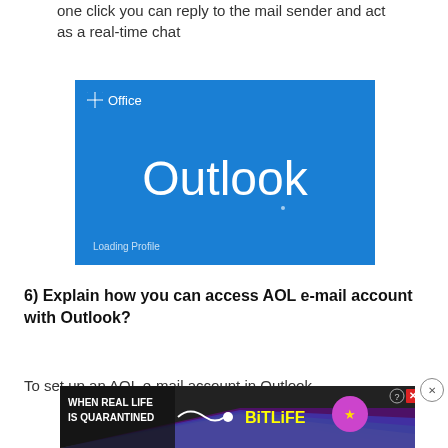one click you can reply to the mail sender and act as a real-time chat
[Figure (screenshot): Microsoft Office Outlook splash screen with blue background showing 'Office' logo and 'Outlook' text with 'Loading Profile' at the bottom]
6) Explain how you can access AOL e-mail account with Outlook?
To set up an AOL e-mail account in Outlook
[Figure (advertisement): BitLife advertisement banner with rainbow background and text 'WHEN REAL LIFE IS QUARANTINED' and 'BITLIFE' logo]